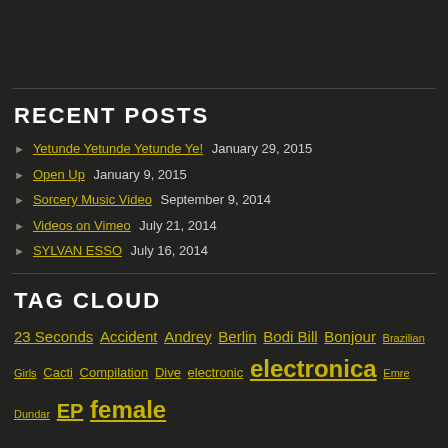RECENT POSTS
Yetunde Yetunde Yetunde Ye! January 29, 2015
Open Up January 9, 2015
Sorcery Music Video September 9, 2014
Videos on Vimeo July 21, 2014
SYLVAN ESSO July 16, 2014
TAG CLOUD
23 Seconds Accident Andrey Berlin Bodi Bill Bonjour Brazilian Girls Cacti Compilation Dive electronic electronica Emre Dundar EP female